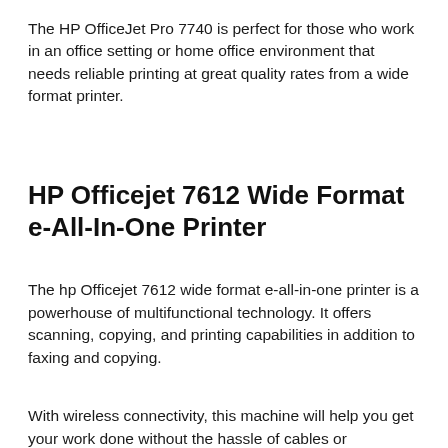The HP OfficeJet Pro 7740 is perfect for those who work in an office setting or home office environment that needs reliable printing at great quality rates from a wide format printer.
HP Officejet 7612 Wide Format e-All-In-One Printer
The hp Officejet 7612 wide format e-all-in-one printer is a powerhouse of multifunctional technology. It offers scanning, copying, and printing capabilities in addition to faxing and copying.
With wireless connectivity, this machine will help you get your work done without the hassle of cables or